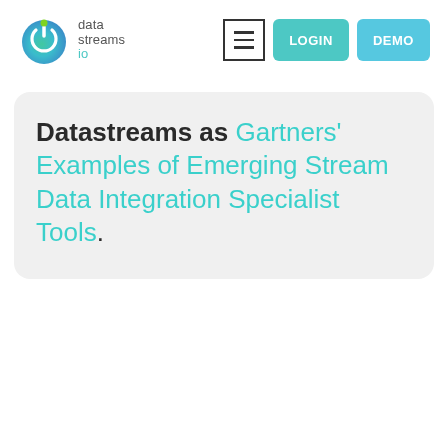[Figure (logo): Datastreams.io logo: circular gradient icon (green to teal) with power button symbol, next to text 'datastreams.io' in grey]
[Figure (other): Navigation bar with hamburger menu button (bordered box with three lines), LOGIN button (teal), and DEMO button (light blue)]
Datastreams as Gartners' Examples of Emerging Stream Data Integration Specialist Tools.